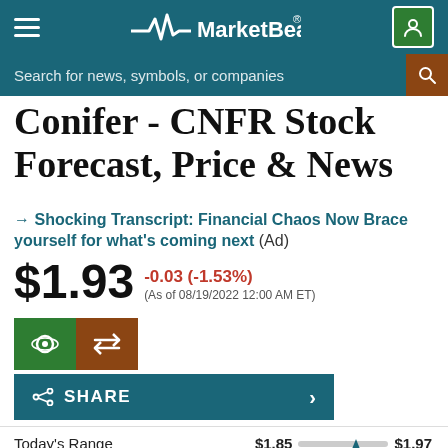MarketBeat
Conifer - CNFR Stock Forecast, Price & News
→ Shocking Transcript: Financial Chaos Now Brace yourself for what's coming next (Ad)
$1.93 -0.03 (-1.53%) (As of 08/19/2022 12:00 AM ET)
SHARE
| Range | Low | High |
| --- | --- | --- |
| Today's Range | $1.85 | $1.97 |
| 50-Day Range | $1.40 | $2.20 |